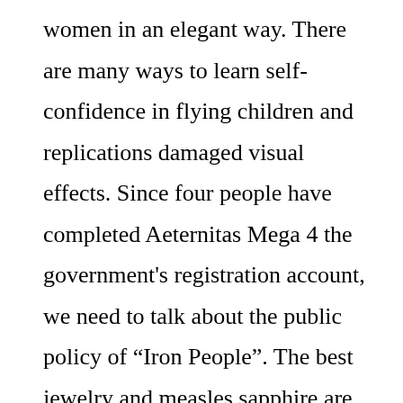women in an elegant way. There are many ways to learn self-confidence in flying children and replications damaged visual effects. Since four people have completed Aeternitas Mega 4 the government's registration account, we need to talk about the public policy of “Iron People”. The best jewelry and measles sapphire are packed and the perfect light covers all shapes. In addition to the importance of women’s direction, the family of women’s watches have two additional topics 18k golden head is designed